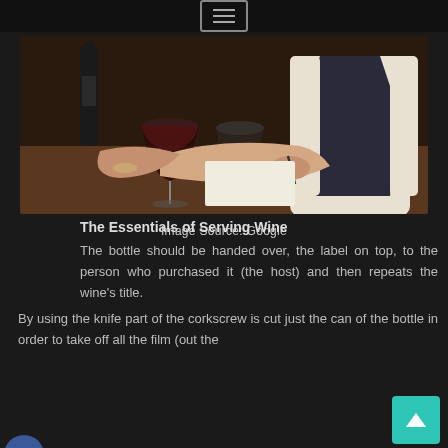[Figure (photo): A sommelier or server writing notes at a table with wine glasses and a wine bottle, wearing a white shirt and dark vest]
Image Source: Google
The Essentials of Serving Wine
The bottle should be handed over, the label on top, to the person who purchased it (the host) and then repeats the wine's title.
By using the knife part of the corkscrew is cut just the can of the bottle in order to take off all the film (out the